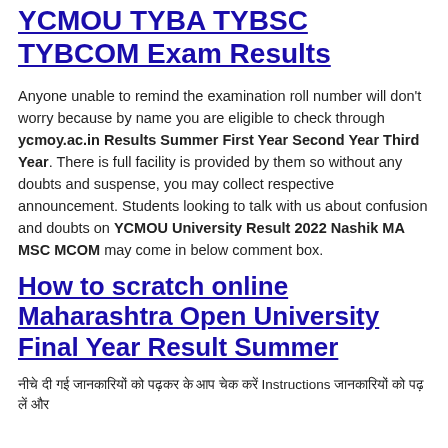YCMOU TYBA TYBSC TYBCOM Exam Results
Anyone unable to remind the examination roll number will don't worry because by name you are eligible to check through ycmoy.ac.in Results Summer First Year Second Year Third Year. There is full facility is provided by them so without any doubts and suspense, you may collect respective announcement. Students looking to talk with us about confusion and doubts on YCMOU University Result 2022 Nashik MA MSC MCOM may come in below comment box.
How to scratch online Maharashtra Open University Final Year Result Summer
नीचे दी गई जानकारियों को पढ़कर के आप चेक करें Instructions जानकारियों को पढ़ लें और